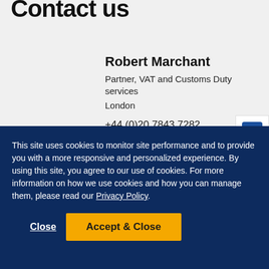Contact us
Robert Marchant
Partner, VAT and Customs Duty services
London
+44 (0)20 7843 7282
This site uses cookies to monitor site performance and to provide you with a more responsive and personalized experience. By using this site, you agree to our use of cookies. For more information on how we use cookies and how you can manage them, please read our Privacy Policy.
Close
Accept & Close